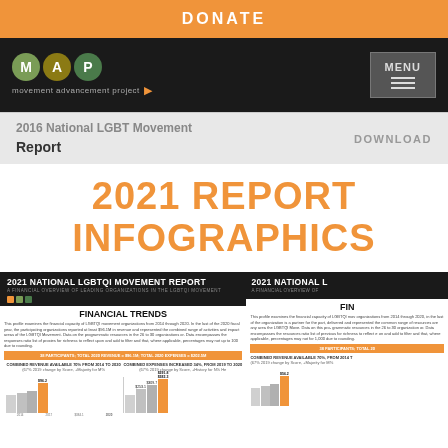DONATE
[Figure (logo): MAP - Movement Advancement Project logo with MENU button]
2016 National LGBT Movement Report
2021 REPORT INFOGRAPHICS
[Figure (infographic): 2021 National LGBTQI Movement Report infographic showing Financial Trends with bar charts. 38 PARTICIPANTS; TOTAL 2020 REVENUE = $96.1M; TOTAL 2020 EXPENSES = $202.5M. Combined revenue available 70% from 2014 to 2020. Combined expenses increased 34% from 2014 to 2020.]
[Figure (infographic): 2021 National LGBTQI Movement Report second infographic panel showing Financial trends partial view.]